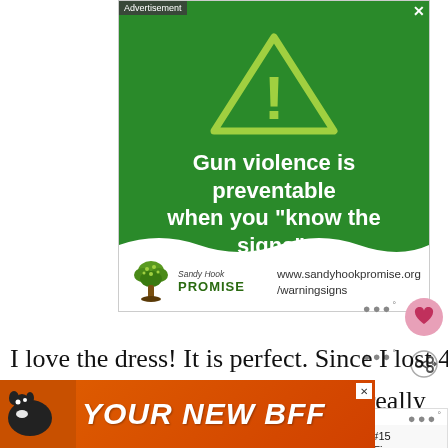[Figure (illustration): Sandy Hook Promise advertisement on green background with warning triangle icon and text 'Gun violence is preventable when you "know the signs".' with Sandy Hook Promise logo and website www.sandyhookpromise.org/warningsigns]
I love the dress! It is perfect. Since I lost 40 pounds about 5 years ago, I never really replaced any dresses. I wear them so... I figured my parents 50th is a good reason to
[Figure (other): Bottom advertisement banner with orange background showing a dog and text 'YOUR NEW BFF' in large italic white letters]